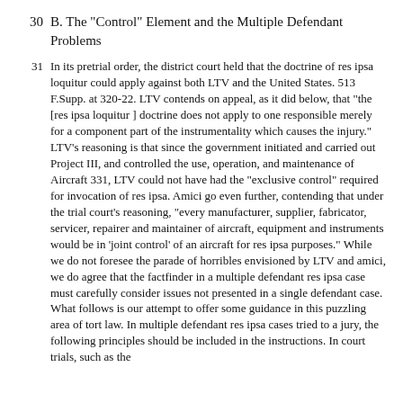B. The "Control" Element and the Multiple Defendant Problems
In its pretrial order, the district court held that the doctrine of res ipsa loquitur could apply against both LTV and the United States. 513 F.Supp. at 320-22. LTV contends on appeal, as it did below, that "the [res ipsa loquitur ] doctrine does not apply to one responsible merely for a component part of the instrumentality which causes the injury." LTV's reasoning is that since the government initiated and carried out Project III, and controlled the use, operation, and maintenance of Aircraft 331, LTV could not have had the "exclusive control" required for invocation of res ipsa. Amici go even further, contending that under the trial court's reasoning, "every manufacturer, supplier, fabricator, servicer, repairer and maintainer of aircraft, equipment and instruments would be in 'joint control' of an aircraft for res ipsa purposes." While we do not foresee the parade of horribles envisioned by LTV and amici, we do agree that the factfinder in a multiple defendant res ipsa case must carefully consider issues not presented in a single defendant case. What follows is our attempt to offer some guidance in this puzzling area of tort law. In multiple defendant res ipsa cases tried to a jury, the following principles should be included in the instructions. In court trials, such as the